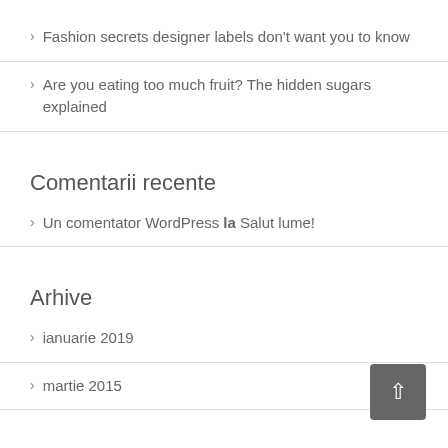Fashion secrets designer labels don't want you to know
Are you eating too much fruit? The hidden sugars explained
Comentarii recente
Un comentator WordPress la Salut lume!
Arhive
ianuarie 2019
martie 2015